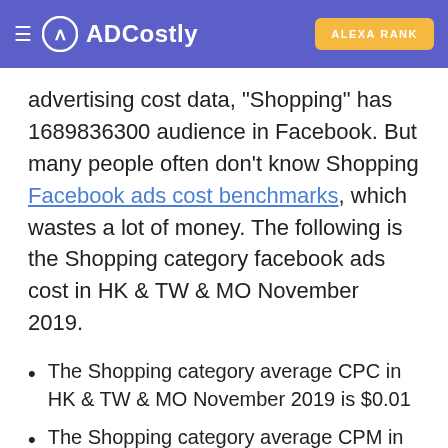ADCostly | ALEXA RANK
advertising cost data, "Shopping" has 1689836300 audience in Facebook. But many people often don't know Shopping Facebook ads cost benchmarks, which wastes a lot of money. The following is the Shopping category facebook ads cost in HK & TW & MO November 2019.
The Shopping category average CPC in HK & TW & MO November 2019 is $0.01
The Shopping category average CPM in HK & TW & MO November 2019 is $0.01